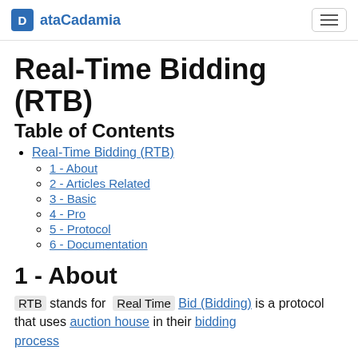ataCadamia
Real-Time Bidding (RTB)
Table of Contents
Real-Time Bidding (RTB)
1 - About
2 - Articles Related
3 - Basic
4 - Pro
5 - Protocol
6 - Documentation
1 - About
RTB stands for Real Time Bid (Bidding) is a protocol that uses auction house in their bidding process